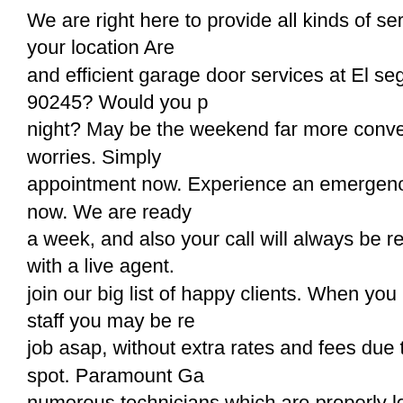We are right here to provide all kinds of services for your location Are and efficient garage door services at El segundo 90245? Would you p night? May be the weekend far more convenient? No worries. Simply appointment now. Experience an emergency? Call now. We are ready a week, and also your call will always be responded with a live agent. join our big list of happy clients. When you use our staff you may be re job asap, without extra rates and fees due to your spot. Paramount Ga numerous technicians which are properly loaded with the ideal toolkits able to serve you when they arrive there. We work and offer services w Services: Garage Door Replacement, Garage Door Safety Sensors, G Replace, Garage Door Spring Installation, Garage Door Opener Parts Service, Broken Springs Repair, Opener Sensor Issues, Traditional Ra Residential Garage Doors, Garage Door Off Track, Garage Door Sprir Overhead Door, Overhead Door Spring Replacement Cost, Garage D Garage Door Opener Service, Garage Door Services, Affordable Over Systems, Garage Door Opener Remote, Garage Door Lift Springs, Aff Low Cost Garage Door Repair, Steel Carriage House Type Doors, Lo Garage Doors, Garage Doors Residential, Insulated And Non-insulate Ornamental Iron Garage Doors, Liftmaster Garage Door Opener, Gara Decorative Overhead Door, Garage Door Opener Safety, Overhead D Rollup Doors, New Garage Door Installation, Garage Door Spring Rep